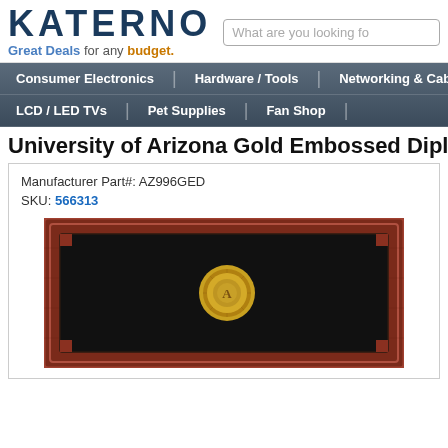[Figure (logo): KATERNO website logo with tagline 'Great Deals for any budget.']
What are you looking fo
Consumer Electronics | Hardware / Tools | Networking & Cable
LCD / LED TVs | Pet Supplies | Fan Shop |
University of Arizona Gold Embossed Diplom
Manufacturer Part#: AZ996GED
SKU: 566313
[Figure (photo): University of Arizona Gold Embossed Diploma Frame - dark mahogany wood frame with black matting and gold embossed seal medallion in the center]